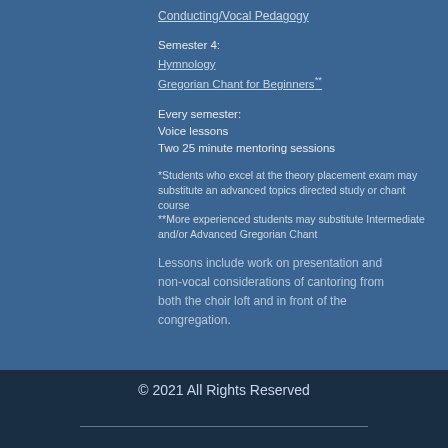Conducting/Vocal Pedagogy
Semester 4:
Hymnology
Gregorian Chant for Beginners**
Every semester:
Voice lessons
Two 25 minute mentoring sessions
*Students who excel at the theory placement exam may substitute an advanced topics directed study or chant course
**More experienced students may substitute Intermediate and/or Advanced Gregorian Chant
Lessons include work on presentation and non-vocal considerations of cantoring from both the choir loft and in front of the congregation.
© 2021 All Rights Reserved